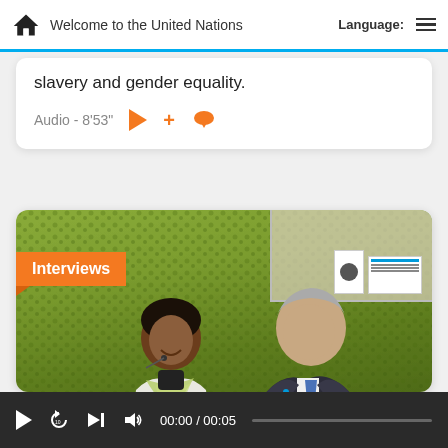Welcome to the United Nations  Language:
slavery and gender equality.
Audio - 8'53"
[Figure (photo): Interviews badge overlaid on photo of two people — a smiling young woman with a microphone headset and a green scarf, and an older man in a dark suit with a blue tie, both standing in front of a green mossy wall backdrop with shelving visible in the background. Label at top-left reads 'UN Social Media'.]
UN Social Media
00:00 / 00:05